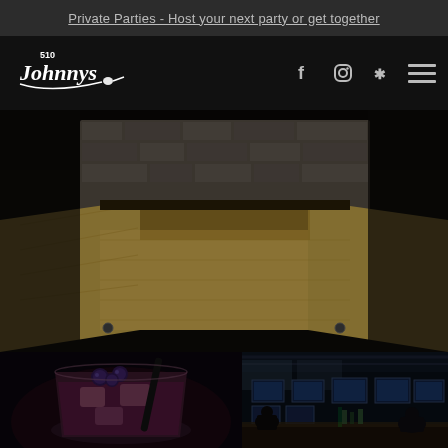Private Parties - Host your next party or get together
[Figure (logo): 510 Johnnys restaurant logo in white script on dark background]
[Figure (photo): Interior restaurant photo showing a wooden booth/stage area with light wood paneling and stone wall backdrop, dimly lit]
[Figure (photo): Close-up photo of a cocktail drink with blueberries and a black straw on a dark background]
[Figure (photo): Interior bar/restaurant photo showing bar seating, multiple TV screens, and patrons in a dimly lit sports bar setting]